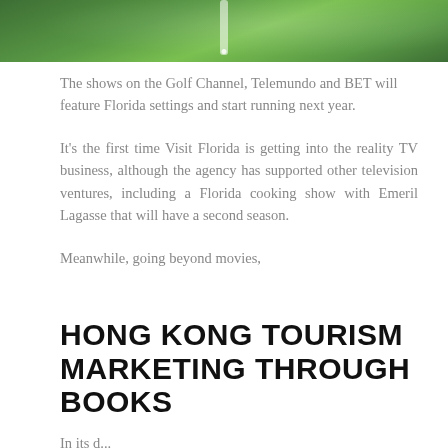[Figure (photo): Golf course scene with green grass and a figure in the distance, cropped at top of page]
The shows on the Golf Channel, Telemundo and BET will feature Florida settings and start running next year.
It's the first time Visit Florida is getting into the reality TV business, although the agency has supported other television ventures, including a Florida cooking show with Emeril Lagasse that will have a second season.
Meanwhile, going beyond movies,
HONG KONG TOURISM MARKETING THROUGH BOOKS
In its d...